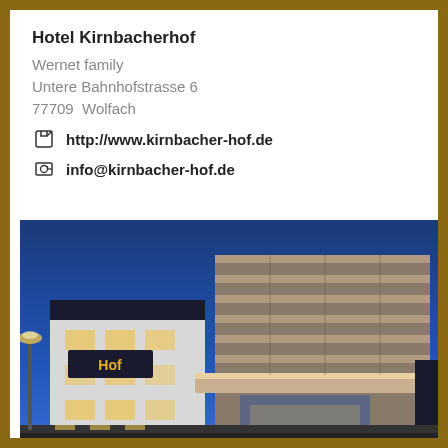Hotel Kirnbacherhof
Wernet family
Untere Bahnhofstrasse 6
77709  Wolfach
http://www.kirnbacher-hof.de
info@kirnbacher-hof.de
[Figure (photo): Nighttime exterior photo of Hotel Kirnbacherhof, a modern multi-story building with illuminated facade, blue sky background, and hotel signage visible on the right side.]